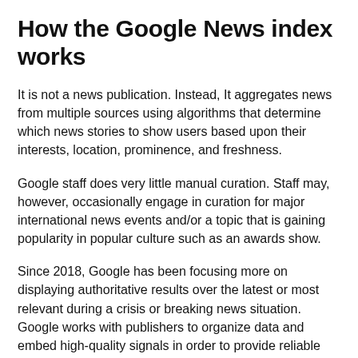How the Google News index works
It is not a news publication. Instead, It aggregates news from multiple sources using algorithms that determine which news stories to show users based upon their interests, location, prominence, and freshness.
Google staff does very little manual curation. Staff may, however, occasionally engage in curation for major international news events and/or a topic that is gaining popularity in popular culture such as an awards show.
Since 2018, Google has been focusing more on displaying authoritative results over the latest or most relevant during a crisis or breaking news situation. Google works with publishers to organize data and embed high-quality signals in order to provide reliable news results.